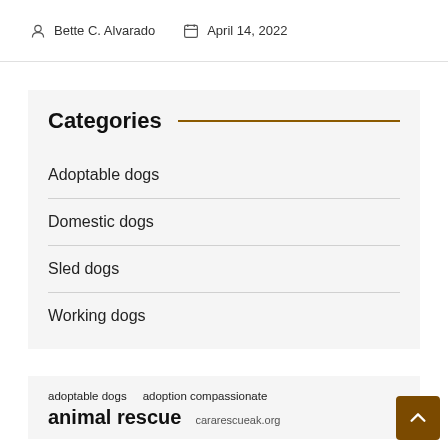Post by Bette C. Alvarado   Post date April 14, 2022
Categories
Adoptable dogs
Domestic dogs
Sled dogs
Working dogs
adoptable dogs   adoption compassionate
animal rescue   cararescueak.org